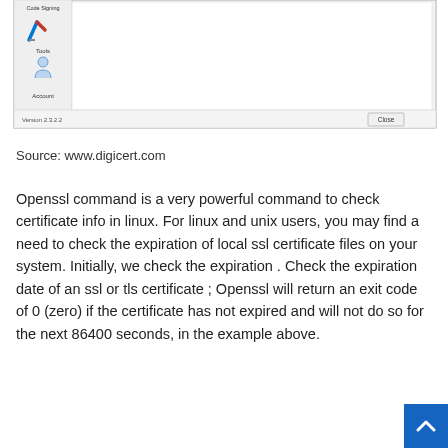[Figure (screenshot): Screenshot of a software application window showing a left sidebar with icons for 'Code Signing', 'Tools', and 'Account'. The main area is empty/white. At the bottom left it shows 'Version 2.3.2.2' and there is a 'Close' button at the bottom right.]
Source: www.digicert.com
Openssl command is a very powerful command to check certificate info in linux. For linux and unix users, you may find a need to check the expiration of local ssl certificate files on your system. Initially, we check the expiration . Check the expiration date of an ssl or tls certificate ; Openssl will return an exit code of 0 (zero) if the certificate has not expired and will not do so for the next 86400 seconds, in the example above.